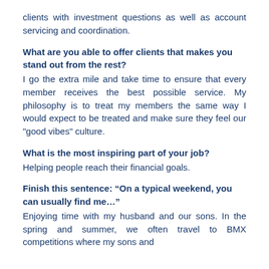clients with investment questions as well as account servicing and coordination.
What are you able to offer clients that makes you stand out from the rest?
I go the extra mile and take time to ensure that every member receives the best possible service. My philosophy is to treat my members the same way I would expect to be treated and make sure they feel our "good vibes" culture.
What is the most inspiring part of your job?
Helping people reach their financial goals.
Finish this sentence: “On a typical weekend, you can usually find me…”
Enjoying time with my husband and our sons. In the spring and summer, we often travel to BMX competitions where my sons and